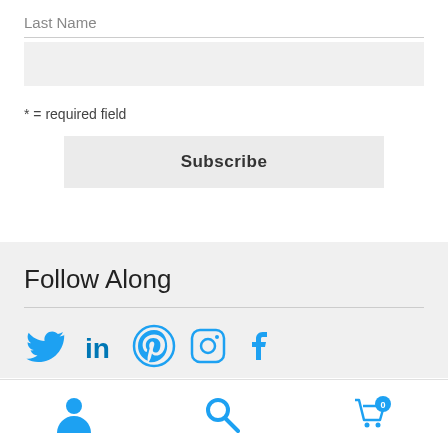Last Name
* = required field
Subscribe
Follow Along
[Figure (illustration): Social media icons: Twitter (bird), LinkedIn (in), Pinterest (P), Instagram (camera), Facebook (f) — all in blue]
[Figure (illustration): Bottom navigation bar with person/account icon, search magnifier icon, and shopping cart icon with badge showing '0']